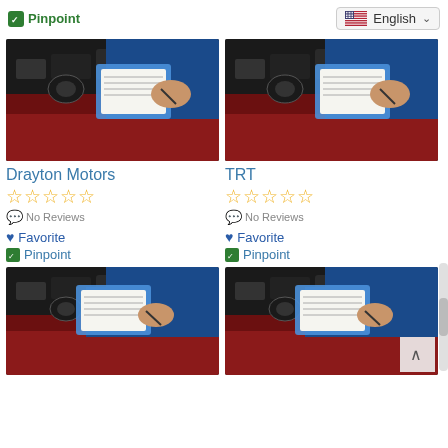Pinpoint   English
[Figure (photo): Mechanic in blue uniform writing on clipboard over car engine - left card]
[Figure (photo): Mechanic in blue uniform writing on clipboard over car engine - right card]
Drayton Motors
☆☆☆☆☆ No Reviews
♥ Favorite
Pinpoint
TRT
☆☆☆☆☆ No Reviews
♥ Favorite
Pinpoint
[Figure (photo): Mechanic in blue uniform writing on clipboard over car engine - bottom left]
[Figure (photo): Mechanic in blue uniform writing on clipboard over car engine - bottom right]